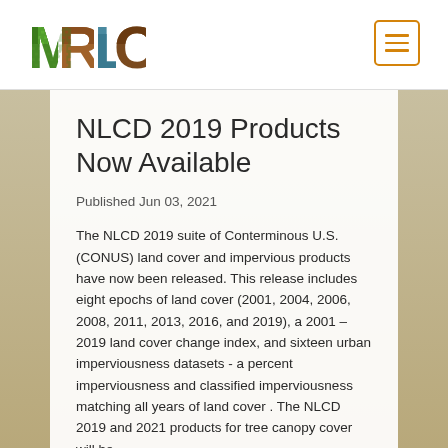[Figure (logo): MRLC logo with letters M, R, L, C filled with nature textures (green leaves, soil, water, bark)]
NLCD 2019 Products Now Available
Published Jun 03, 2021
The NLCD 2019 suite of Conterminous U.S. (CONUS) land cover and impervious products have now been released. This release includes eight epochs of land cover (2001, 2004, 2006, 2008, 2011, 2013, 2016, and 2019), a 2001 – 2019 land cover change index, and sixteen urban imperviousness datasets - a percent imperviousness and classified imperviousness matching all years of land cover . The NLCD 2019 and 2021 products for tree canopy cover will be